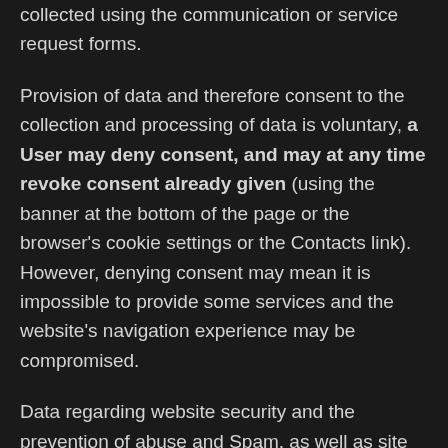collected using the communication or service request forms.
Provision of data and therefore consent to the collection and processing of data is voluntary, a User may deny consent, and may at any time revoke consent already given (using the banner at the bottom of the page or the browser's cookie settings or the Contacts link). However, denying consent may mean it is impossible to provide some services and the website's navigation experience may be compromised.
Data regarding website security and the prevention of abuse and Spam, as well as site traffic analysis data (statistics) in